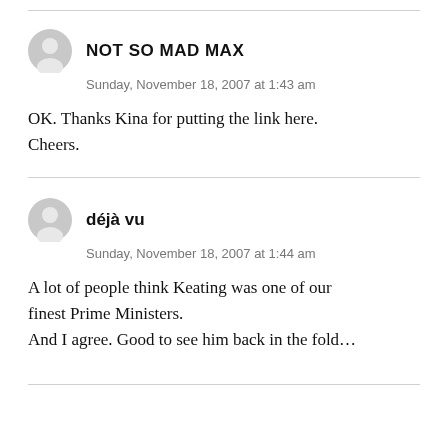NOT SO MAD MAX
Sunday, November 18, 2007 at 1:43 am
OK. Thanks Kina for putting the link here. Cheers.
déjà vu
Sunday, November 18, 2007 at 1:44 am
A lot of people think Keating was one of our finest Prime Ministers.
And I agree. Good to see him back in the fold…